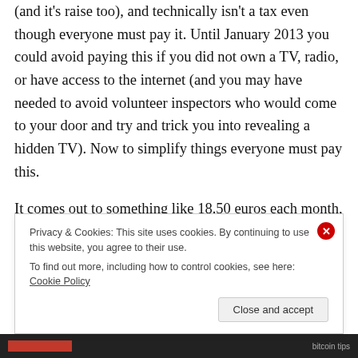(and it's raise too), and technically isn't a tax even though everyone must pay it. Until January 2013 you could avoid paying this if you did not own a TV, radio, or have access to the internet (and you may have needed to avoid volunteer inspectors who would come to your door and try and trick you into revealing a hidden TV). Now to simplify things everyone must pay this.
It comes out to something like 18.50 euros each month, and if you don't pay it you will be fined a thousand euros or some such (I haven't heard of this happening since the new system went into action in 2013). The reason this
Privacy & Cookies: This site uses cookies. By continuing to use this website, you agree to their use.
To find out more, including how to control cookies, see here: Cookie Policy
Close and accept